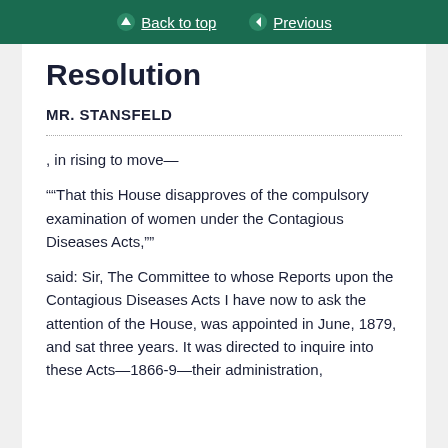Back to top | Previous
Resolution
MR. STANSFELD
, in rising to move—
““That this House disapproves of the compulsory examination of women under the Contagious Diseases Acts,””
said: Sir, The Committee to whose Reports upon the Contagious Diseases Acts I have now to ask the attention of the House, was appointed in June, 1879, and sat three years. It was directed to inquire into these Acts—1866-9—their administration,